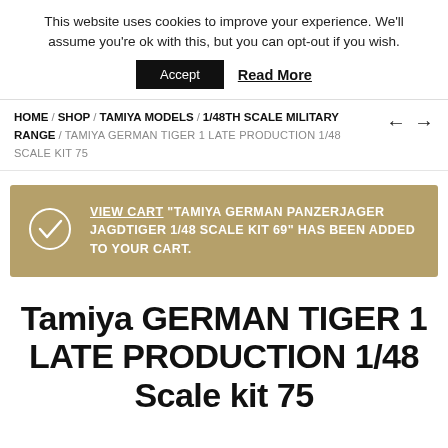This website uses cookies to improve your experience. We'll assume you're ok with this, but you can opt-out if you wish.
Accept | Read More
HOME / SHOP / TAMIYA MODELS / 1/48TH SCALE MILITARY RANGE / TAMIYA GERMAN TIGER 1 LATE PRODUCTION 1/48 SCALE KIT 75
VIEW CART "TAMIYA GERMAN PANZERJAGER JAGDTIGER 1/48 SCALE KIT 69" HAS BEEN ADDED TO YOUR CART.
Tamiya GERMAN TIGER 1 LATE PRODUCTION 1/48 Scale kit 75